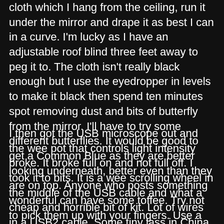cloth which I hang from the ceiling, run it under the mirror and drape it as best I can in a curve. I'm lucky as I have an adjustable roof blind three feet away to peg it to. The cloth isn't really black enough but I use the eyedropper in levels to make it black then spend ten minutes spot removing dust and bits of butterfly from the mirror. I'll have to try some different butterflies. It would be good to get a Common Blue as they are better looking underneath, better even than they are on top. Anyone who posts something wonderful can have some toffee. Try not to pick them up with your fingers. Use a pair of tweezers and grab a leg.
I then got the USB microscope out and the wee pot that controls light intensity broke. It broke full on and not full off. I took it to bits. It is a wee scrolling wheel in the middle of the USB cable and what a cheap and horrible bit of kit. Lot of wires in a USB2 cable. Some tiny lass in China must be half blind sorting them. I